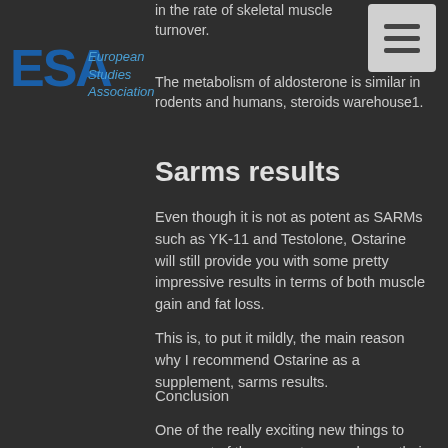in the rate of skeletal muscle turnover.
[Figure (logo): ESA - European Studies Association logo with blue text]
The metabolism of aldosterone is similar in rodents and humans, steroids warehouse1.
Sarms results
Even though it is not as potent as SARMs such as YK-11 and Testolone, Ostarine will still provide you with some pretty impressive results in terms of both muscle gain and fat loss.
This is, to put it mildly, the main reason why I recommend Ostarine as a supplement, sarms results.
Conclusion
One of the really exciting new things to come out of the current research was their discovery of a protein called Ostarine.